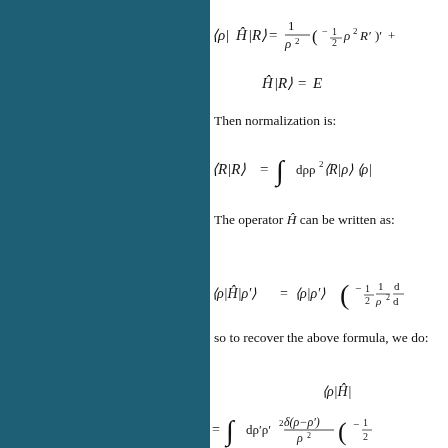Then normalization is:
The operator H-hat can be written as:
so to recover the above formula, we do: